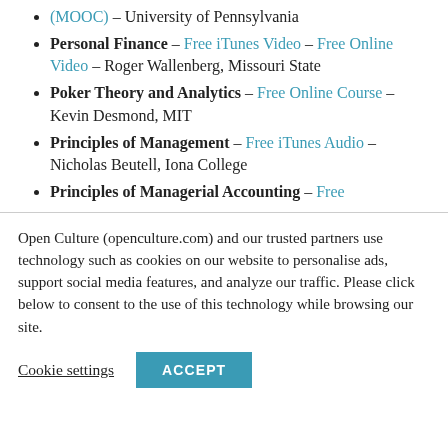(MOOC) – University of Pennsylvania
Personal Finance – Free iTunes Video – Free Online Video – Roger Wallenberg, Missouri State
Poker Theory and Analytics – Free Online Course – Kevin Desmond, MIT
Principles of Management – Free iTunes Audio – Nicholas Beutell, Iona College
Principles of Managerial Accounting – Free
Open Culture (openculture.com) and our trusted partners use technology such as cookies on our website to personalise ads, support social media features, and analyze our traffic. Please click below to consent to the use of this technology while browsing our site.
Cookie settings  ACCEPT